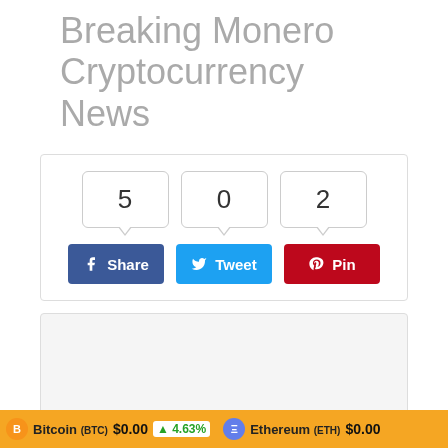Breaking Monero Cryptocurrency News
[Figure (infographic): Social share buttons with counters: Facebook Share (count: 5), Twitter Tweet (count: 0), Pinterest Pin (count: 2)]
[Figure (other): Loading content area with spinning loader icon, gray background box]
Bitcoin (BTC) $0.00  4.63%   Ethereum (ETH) $0.00